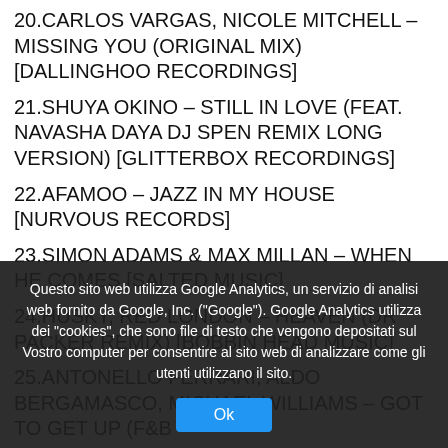20.CARLOS VARGAS, NICOLE MITCHELL – MISSING YOU (ORIGINAL MIX) [DALLINGHOO RECORDINGS]
21.SHUYA OKINO – STILL IN LOVE (FEAT. NAVASHA DAYA DJ SPEN REMIX LONG VERSION) [GLITTERBOX RECORDINGS]
22.AFAMOO – JAZZ IN MY HOUSE [NURVOUS RECORDS]
23.SIMON ADAMS & MAX MILLAN – WHEN HE COMES [SALTED MUSIC]
24.HUSKY, RED LONDON – HEAVEN (DR PACKER REMIX) [BOBBIN HEAD MUSIC]
25.ANTONELLO FERRARI, ALDO BERGAMASCO, MICHAEL WILLIAMS – GOT TO GET UP (F&B
Questo sito web utilizza Google Analytics, un servizio di analisi web fornito da Google, Inc. ("Google"). Google Analytics utilizza dei "cookies", che sono file di testo che vengono depositati sul Vostro computer per consentire al sito web di analizzare come gli utenti utilizzano il sito.
Ok